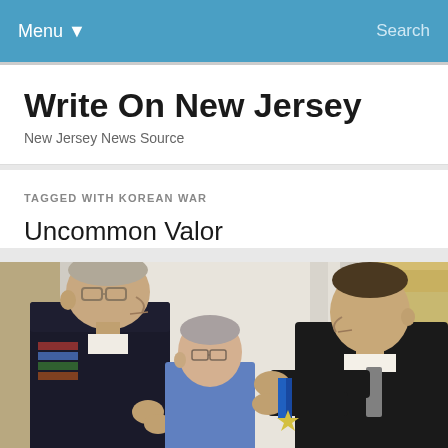Menu ▾    Search
Write On New Jersey
New Jersey News Source
TAGGED WITH KOREAN WAR
Uncommon Valor
[Figure (photo): A military officer in dress uniform receiving a medal from a man in a dark suit, with a woman standing between them in an ornate room with curtains and decorative walls.]